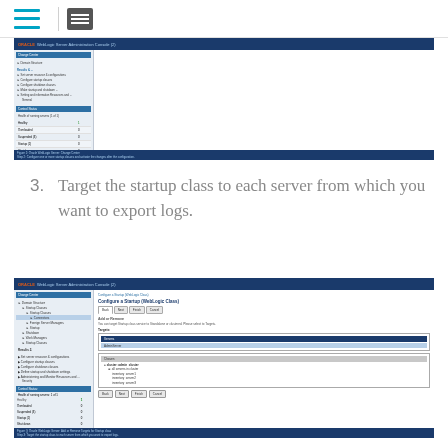Navigation bar with hamburger menu and list view icon
[Figure (screenshot): Oracle WebLogic Server Administration Console screenshot showing Change Center, Domain Structure sidebar with startup classes, Control Status panel, and a results table with server health metrics. Bottom info bar: 'Figure 2: Oracle WebLogic Server: Change Center. Step 2: Configure one or more startup classes and activate the changes after the configuration.']
3. Target the startup class to each server from which you want to export logs.
[Figure (screenshot): Oracle WebLogic Server Administration Console screenshot showing 'Configure a Startup (WebLogic Class)' page with Add or Remove Targets section. Sidebar shows Domain Structure tree with Startup Classes and Connectors selected. Main area shows Servers list with AdminServer and Chosen section with cluster: admin_cluster containing inventory_server1, inventory_server2, inventory_server3. Navigation buttons: Back, Next, Finish, Cancel. Bottom info bar: 'Figure (): Oracle WebLogic Server: Add or Remove Targets for Startup class. Step 3: Target the startup class to each server from which you want to export logs.']